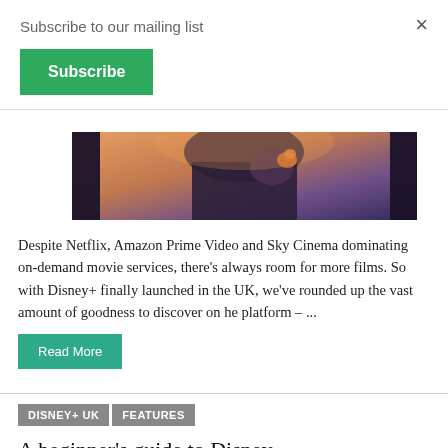Subscribe to our mailing list
Subscribe
×
[Figure (photo): Close-up of a dark figure holding something against a warm orange/purple sky background — appears to be a movie still]
Despite Netflix, Amazon Prime Video and Sky Cinema dominating on-demand movie services, there's always room for more films. So with Disney+ finally launched in the UK, we've rounded up the vast amount of goodness to discover on he platform – ...
Read More
DISNEY+ UK
FEATURES
A beginner's guide to Disney